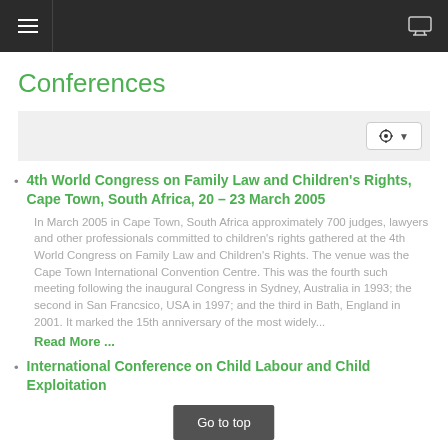≡  [monitor icon]
Conferences
4th World Congress on Family Law and Children's Rights, Cape Town, South Africa, 20 – 23 March 2005

In March 2005 in Cape Town, South Africa approximately 700 judges, lawyers and other professionals committed to children's rights gathered at the 4th World Congress on Family Law and Children's Rights. The venue was the Cape Town International Convention Centre. This was the fourth such meeting following the inaugural Congress in Sydney, Australia in 1993; the second in San Francsico, USA in 1997; and the third in Bath, England in 2001. It marked the 15th anniversary of the most widely...
Read More ...
International Conference on Child Labour and Child Exploitation